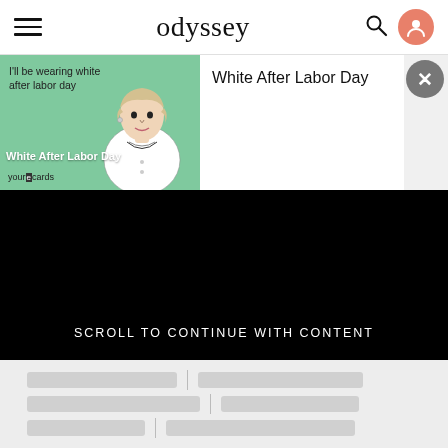odyssey
[Figure (illustration): Someecards meme image on green background showing a vintage-style woman illustration with text 'I'll be wearing white after labor day' and 'White After Labor Day' watermark, sourced from someecards/yourcards]
White After Labor Day
SCROLL TO CONTINUE WITH CONTENT